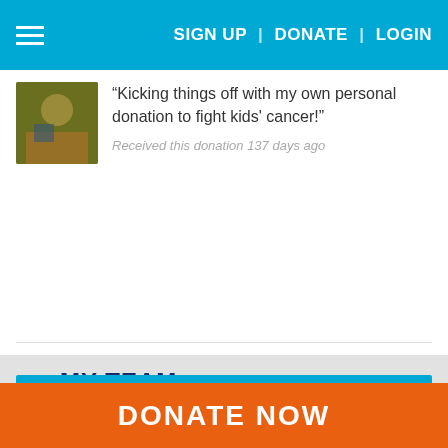SIGN UP | DONATE | LOGIN
“Kicking things off with my own personal donation to fight kids’ cancer!”
Received this donation 137 days ago
MY TEAM
Name: Team Kahleesi
Category: Community Group
Our Goal: $53,855
We've Raised: $21,593.76
DONATE NOW